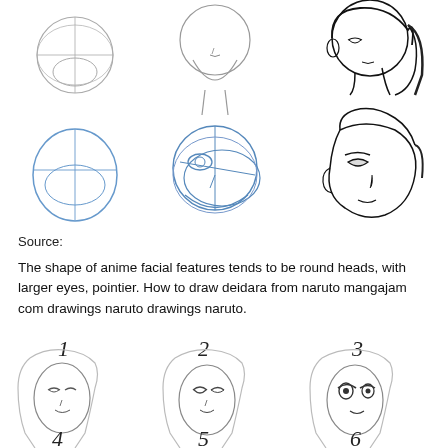[Figure (illustration): Step-by-step anime head drawing tutorial showing six sketches: top row shows three stages of a front-facing anime head (circle construction to finished face), bottom row shows three stages of a three-quarter view anime head with blue construction lines to finished face with features.]
Source:
The shape of anime facial features tends to be round heads, with larger eyes, pointier. How to draw deidara from naruto mangajam com drawings naruto drawings naruto.
[Figure (illustration): Six-step tutorial showing progressive drawing of an anime girl face with long hair, numbered 1 through 6. Steps 1-3 visible fully showing increasing stylization of facial features; steps 4-6 partially visible at bottom.]